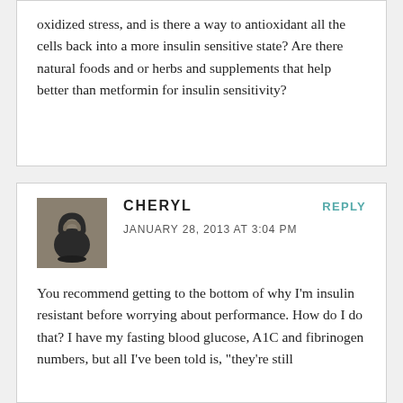oxidized stress, and is there a way to antioxidant all the cells back into a more insulin sensitive state? Are there natural foods and or herbs and supplements that help better than metformin for insulin sensitivity?
CHERYL
JANUARY 28, 2013 AT 3:04 PM
You recommend getting to the bottom of why I'm insulin resistant before worrying about performance. How do I do that? I have my fasting blood glucose, A1C and fibrinogen numbers, but all I've been told is, "they're still